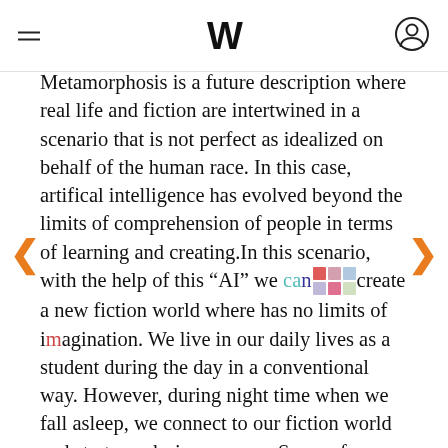W
Metamorphosis is a future description where real life and fiction are intertwined in a scenario that is not perfect as idealized on behalf of the human race. In this case, artifical intelligence has evolved beyond the limits of comprehension of people in terms of learning and creating.In this scenario, with the help of this "AI" we can create a new fiction world where has no limits of imagination. We live in our daily lives as a student during the day in a conventional way. However, during night time when we fall asleep, we connect to our fiction world and start our design process. Some of users (non-architects) choose to connect pods during their daily lives and some even choose to live only in this fiction world. Architect students are the designers of